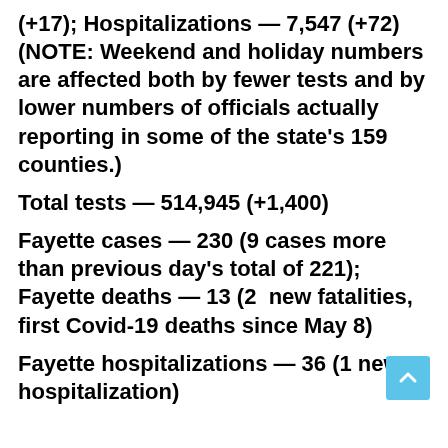(+17); Hospitalizations — 7,547 (+72) (NOTE: Weekend and holiday numbers are affected both by fewer tests and by lower numbers of officials actually reporting in some of the state's 159 counties.)
Total tests — 514,945 (+1,400)
Fayette cases — 230 (9 cases more than previous day's total of 221); Fayette deaths — 13 (2  new fatalities, first Covid-19 deaths since May 8)
Fayette hospitalizations — 36 (1 new hospitalization)